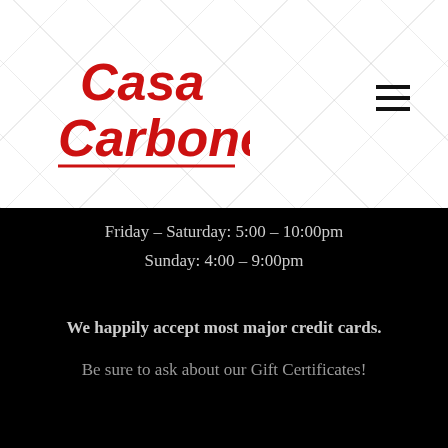[Figure (logo): Casa Carbone restaurant logo in red script lettering on white diamond-pattern background]
Friday – Saturday:  5:00 – 10:00pm
Sunday:  4:00 – 9:00pm
We happily accept most major credit cards.
Be sure to ask about our Gift Certificates!